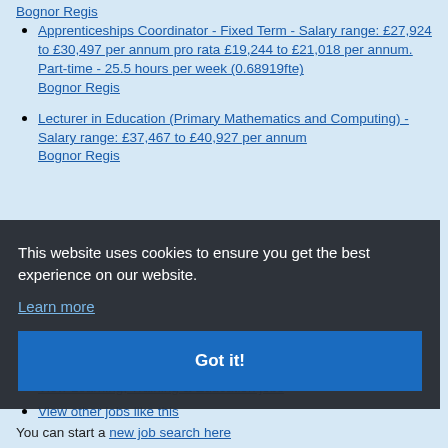Bognor Regis
Apprenticeships Coordinator - Fixed Term - Salary range: £27,924 to £30,497 per annum pro rata £19,244 to £21,018 per annum. Part-time - 25.5 hours per week (0.68919fte) Bognor Regis
Lecturer in Education (Primary Mathematics and Computing) - Salary range: £37,467 to £40,927 per annum Bognor Regis
This website uses cookies to ensure you get the best experience on our website.
Learn more
Got it!
View Financial Services & Insurance jobs
View Voluntary Sector, Charity & Not for profit jobs
View Learning, Training & Education jobs
View other jobs like this
You can start a new job search here